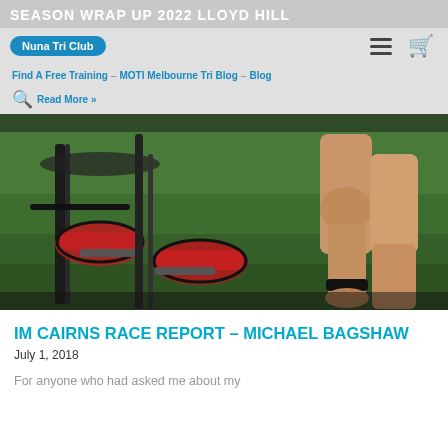SEASON WRAP UP 2022 LLOYD HILL
IM CAIRNS RACE REPORT – MICHAEL BAGSHAW
July 1, 2018
[Figure (photo): Close-up photo of a triathlon transition area showing a bicycle with cycling shoes clipped to the pedals on the left, and an athlete's bare running legs on the right, on a grass background.]
For anyone who had asked me about my